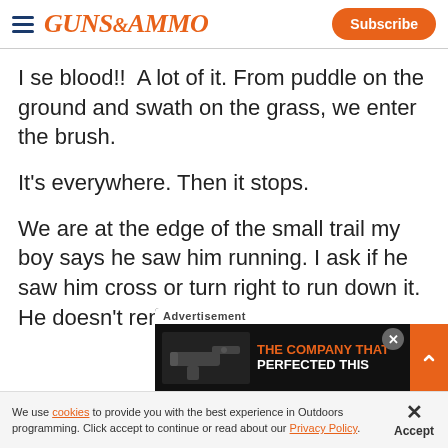GUNS&AMMO — Subscribe
I se blood!!  A lot of it. From puddle on the ground and swath on the grass, we enter the brush.
It's everywhere. Then it stops.
We are at the edge of the small trail my boy says he saw him running. I ask if he saw him cross or turn right to run down it. He doesn't remember. Says him there.
[Figure (screenshot): Advertisement overlay showing a handgun image and text 'THE COMPANY THAT PERFECTED THIS' with close and expand buttons]
We use cookies to provide you with the best experience in Outdoors programming. Click accept to continue or read about our Privacy Policy.